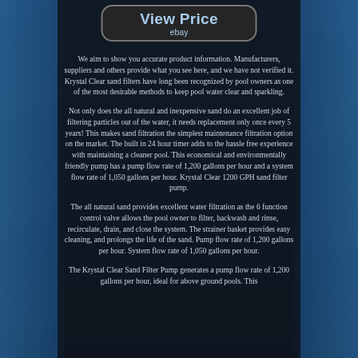[Figure (other): View Price button with ebay label on dark background, with blue pool imagery on sides]
We aim to show you accurate product information. Manufacturers, suppliers and others provide what you see here, and we have not verified it. Krystal Clear sand filters have long been recognized by pool owners as one of the most desirable methods to keep pool water clear and sparkling.
Not only does the all natural and inexpensive sand do an excellent job of filtering particles out of the water, it needs replacement only once every 5 years! This makes sand filtration the simplest maintenance filtration option on the market. The built in 24 hour timer adds to the hassle free experience with maintaining a cleaner pool. This economical and environmentally friendly pump has a pump flow rate of 1,200 gallons per hour and a system flow rate of 1,050 gallons per hour. Krystal Clear 1200 GPH sand filter pump.
The all natural sand provides excellent water filtration as the 6 function control valve allows the pool owner to filter, backwash and rinse, recirculate, drain, and close the system. The strainer basket provides easy cleaning, and prolongs the life of the sand. Pump flow rate of 1,200 gallons per hour. System flow rate of 1,050 gallons per hour.
The Krystal Clear Sand Filter Pump generates a pump flow rate of 1,200 gallons per hour, ideal for above ground pools. This